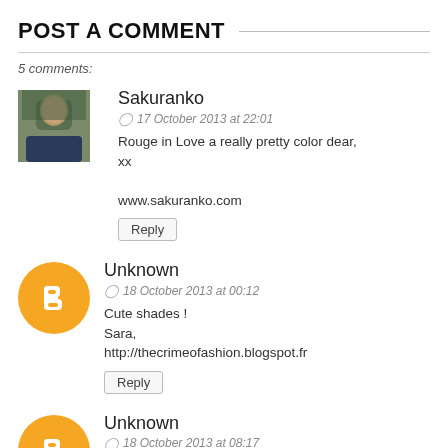POST A COMMENT
5 comments:
Sakuranko
17 October 2013 at 22:01
Rouge in Love a really pretty color dear, xx

www.sakuranko.com
Reply
Unknown
18 October 2013 at 00:12
Cute shades !
Sara,
http://thecrimeofashion.blogspot.fr
Reply
Unknown
18 October 2013 at 08:17
Rouge in Love warnanya bagus banget :?